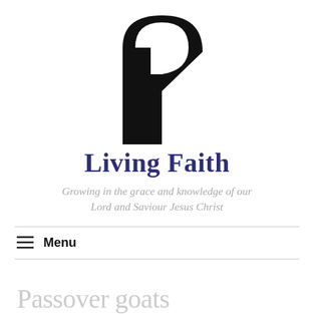[Figure (logo): Black stylized logo resembling the letter P with an arch, containing a smaller white arch cutout and a diagonal notch, centered at top of page]
Living Faith
Growing in the grace and knowledge of our Lord and Saviour Jesus Christ
≡ Menu
Passover goats